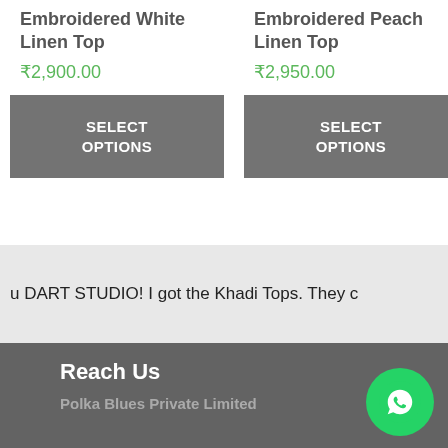Embroidered White Linen Top
₹2,900.00
SELECT OPTIONS
Embroidered Peach Linen Top
₹2,950.00
SELECT OPTIONS
u DART STUDIO! I got the Khadi Tops. They c
Reach Us
Polka Blues Private Limited